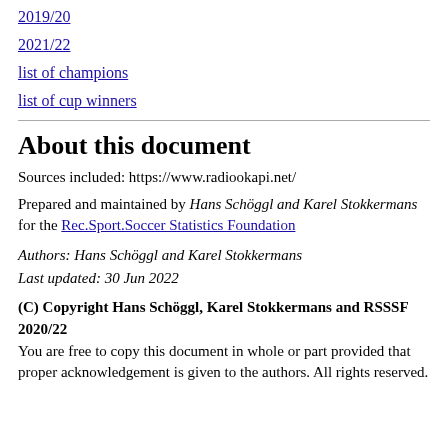2019/20
2021/22
list of champions
list of cup winners
About this document
Sources included: https://www.radiookapi.net/
Prepared and maintained by Hans Schöggl and Karel Stokkermans for the Rec.Sport.Soccer Statistics Foundation
Authors: Hans Schöggl and Karel Stokkermans
Last updated: 30 Jun 2022
(C) Copyright Hans Schöggl, Karel Stokkermans and RSSSF 2020/22
You are free to copy this document in whole or part provided that proper acknowledgement is given to the authors. All rights reserved.